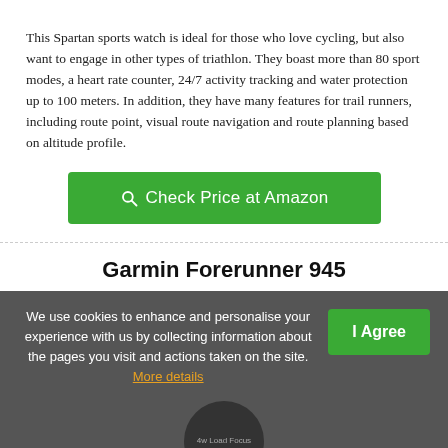This Spartan sports watch is ideal for those who love cycling, but also want to engage in other types of triathlon. They boast more than 80 sport modes, a heart rate counter, 24/7 activity tracking and water protection up to 100 meters. In addition, they have many features for trail runners, including route point, visual route navigation and route planning based on altitude profile.
[Figure (other): Green button labeled 'Check Price at Amazon' with a search/magnifier icon]
Garmin Forerunner 945
We use cookies to enhance and personalise your experience with us by collecting information about the pages you visit and actions taken on the site. More details